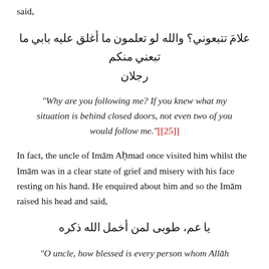said,
علامَ تتبعوني؟ والله لو تعلمون ما أغلق عليه بابي ما تبعني منكم رجلان
“Why are you following me? If you knew what my situation is behind closed doors, not even two of you would follow me.”[[25]]
In fact, the uncle of Imām Aḥmad once visited him whilst the Imām was in a clear state of grief and misery with his face resting on his hand. He enquired about him and so the Imām raised his head and said,
يا عم، طوبى لمن أخمل الله ذكره
“O uncle, how blessed is every person whom Allāh